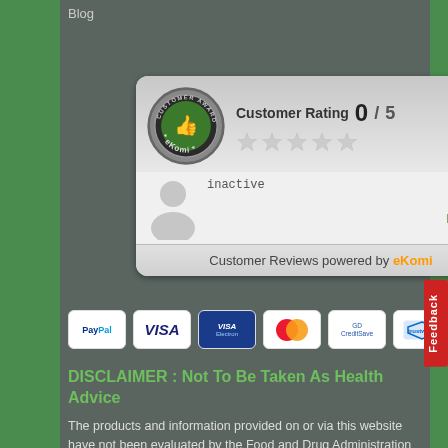Blog
[Figure (other): eKomi Customer Award widget showing Customer Rating 0/5 with five empty stars, inactive status, and 'Customer Reviews powered by eKomi' footer]
[Figure (other): Payment method icons row: PayPal, VISA, Visa Electron, MasterCard, CreditSave, Trustwave]
DISCLAIMER : Not To Be Taken As Health Advice
The products and information provided on or via this website have not been evaluated by the Food and Drug Administration or MHRA and are not to be used to diagnose, treat, cure or prevent disease. This website is not intended to provide a diagnosis, treatment or medical any advice. Read Complete